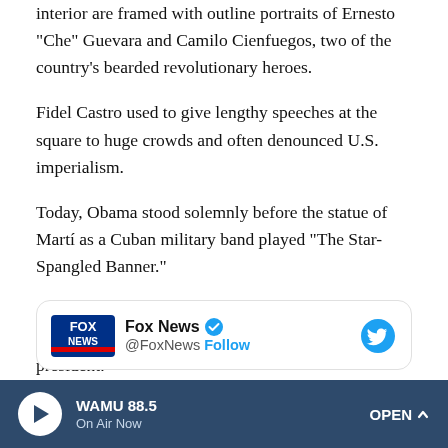interior are framed with outline portraits of Ernesto "Che" Guevara and Camilo Cienfuegos, two of the country's bearded revolutionary heroes.
Fidel Castro used to give lengthy speeches at the square to huge crowds and often denounced U.S. imperialism.
Today, Obama stood solemnly before the statue of Martí as a Cuban military band played "The Star-Spangled Banner."
A few minutes later, and for the first time in almost 90 years, a Cuban president welcomed an American president.
[Figure (screenshot): Fox News Twitter embed card showing Fox News account with verified badge, @FoxNews handle, and Follow link, with Twitter bird icon on the right]
WAMU 88.5 On Air Now OPEN